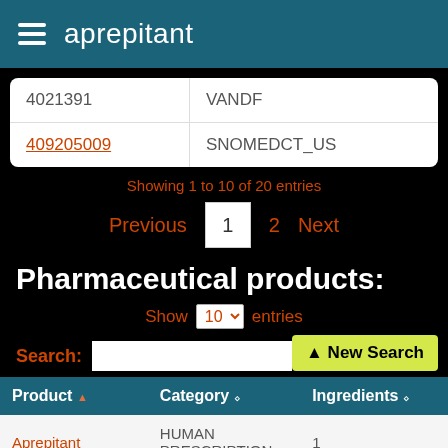aprepitant
|  |  |
| --- | --- |
| 4021391 | VANDF |
| 409205009 | SNOMEDCT_US |
Showing 1 to 10 of 20 entries
Previous  1  2  Next
Pharmaceutical products:
Show 10 entries
Search:
New Search
| Product | Category | Ingredients |
| --- | --- | --- |
| Aprepitant | HUMAN PRESCRIPTION | 1 |